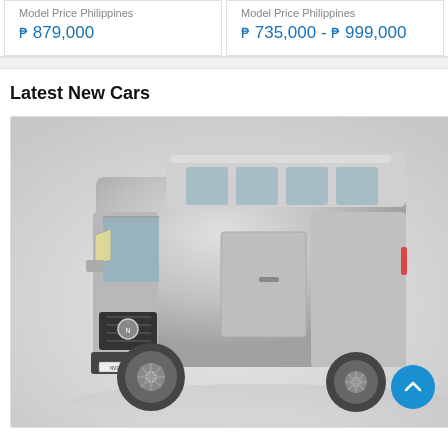Model Price Philippines
₱ 879,000
Model Price Philippines
₱ 735,000 - ₱ 999,000
Latest New Cars
[Figure (photo): Silver Nissan NV350 Urvan high-roof passenger van, three-quarter front view on white/light grey background]